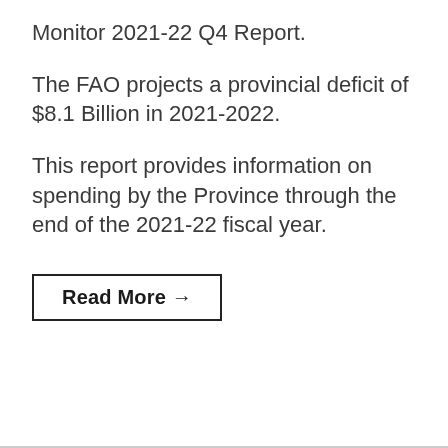Monitor 2021-22 Q4 Report.
The FAO projects a provincial deficit of $8.1 Billion in 2021-2022.
This report provides information on spending by the Province through the end of the 2021-22 fiscal year.
Read More →